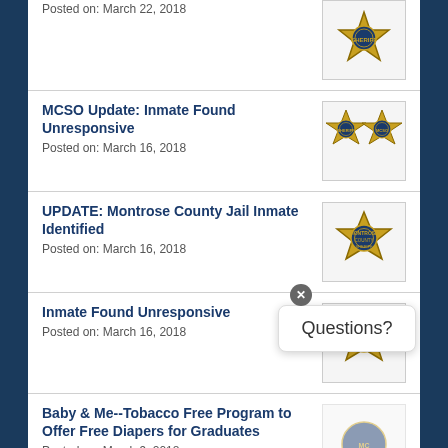Posted on: March 22, 2018
MCSO Update: Inmate Found Unresponsive
Posted on: March 16, 2018
UPDATE: Montrose County Jail Inmate Identified
Posted on: March 16, 2018
Inmate Found Unresponsive
Posted on: March 16, 2018
Baby & Me--Tobacco Free Program to Offer Free Diapers for Graduates
Posted on: March 9, 2018
2018 Tribute to Aviation: Salute to Women in Aviation